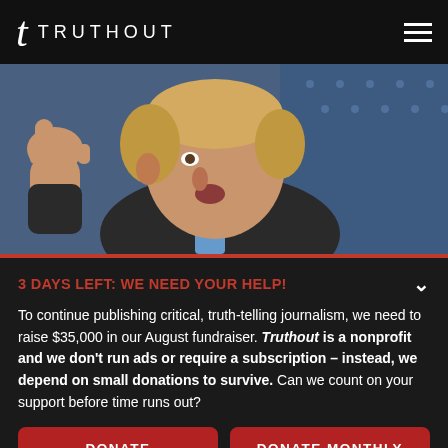TRUTHOUT
[Figure (photo): Close-up photo of a man with blond hair giving a thumbs up gesture, with an American flag in the background.]
3 DAYS LEFT: WE NEED YOUR HELP!
To continue publishing critical, truth-telling journalism, we need to raise $35,000 in our August fundraiser. Truthout is a nonprofit and we don't run ads or require a subscription – instead, we depend on small donations to survive. Can we count on your support before time runs out?
DONATE
DONATE MONTHLY